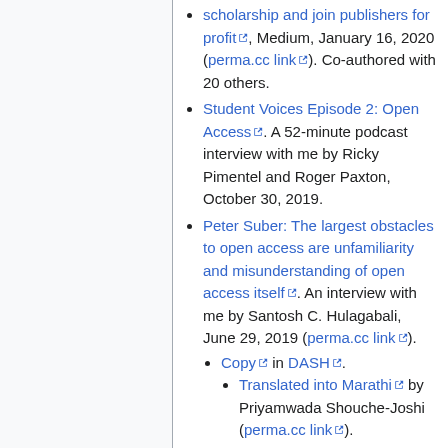scholarship and join publishers for profit, Medium, January 16, 2020 (perma.cc link). Co-authored with 20 others.
Student Voices Episode 2: Open Access. A 52-minute podcast interview with me by Ricky Pimentel and Roger Paxton, October 30, 2019.
Peter Suber: The largest obstacles to open access are unfamiliarity and misunderstanding of open access itself. An interview with me by Santosh C. Hulagabali, June 29, 2019 (perma.cc link).
Copy in DASH.
Translated into Marathi by Priyamwada Shouche-Joshi (perma.cc link).
Open Access: A Conversation with